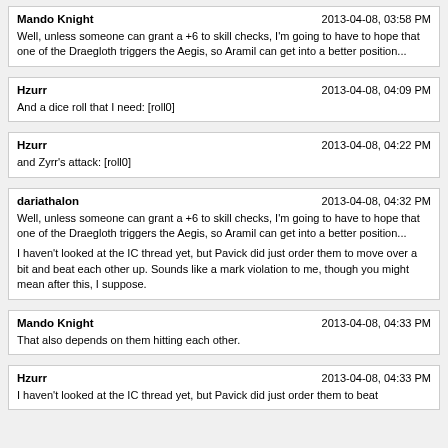Mando Knight | 2013-04-08, 03:58 PM
Well, unless someone can grant a +6 to skill checks, I'm going to have to hope that one of the Draegloth triggers the Aegis, so Aramil can get into a better position...
Hzurr | 2013-04-08, 04:09 PM
And a dice roll that I need: [roll0]
Hzurr | 2013-04-08, 04:22 PM
and Zyrr's attack: [roll0]
dariathalon | 2013-04-08, 04:32 PM
Well, unless someone can grant a +6 to skill checks, I'm going to have to hope that one of the Draegloth triggers the Aegis, so Aramil can get into a better position...
I haven't looked at the IC thread yet, but Pavick did just order them to move over a bit and beat each other up. Sounds like a mark violation to me, though you might mean after this, I suppose.
Mando Knight | 2013-04-08, 04:33 PM
That also depends on them hitting each other.
Hzurr | 2013-04-08, 04:33 PM
I haven't looked at the IC thread yet, but Pavick did just order them to beat